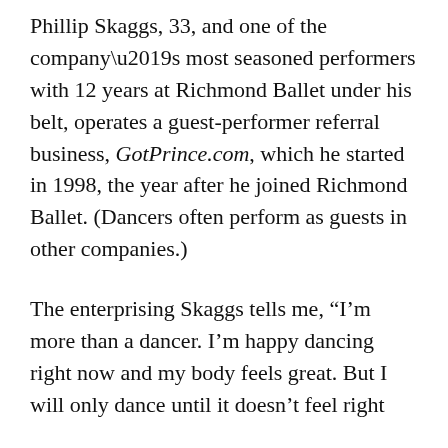Phillip Skaggs, 33, and one of the company's most seasoned performers with 12 years at Richmond Ballet under his belt, operates a guest-performer referral business, GotPrince.com, which he started in 1998, the year after he joined Richmond Ballet. (Dancers often perform as guests in other companies.)
The enterprising Skaggs tells me, “I’m more than a dancer. I’m happy dancing right now and my body feels great. But I will only dance until it doesn’t feel right